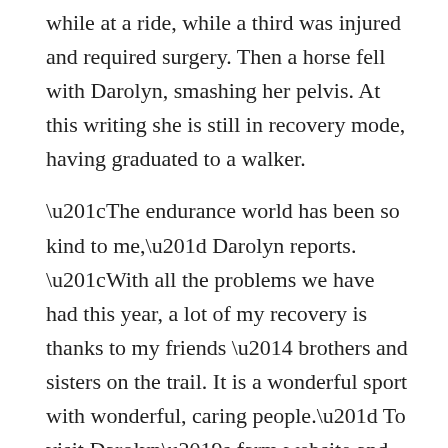while at a ride, while a third was injured and required surgery. Then a horse fell with Darolyn, smashing her pelvis. At this writing she is still in recovery mode, having graduated to a walker.
“The endurance world has been so kind to me,” Darolyn reports. “With all the problems we have had this year, a lot of my recovery is thanks to my friends — brothers and sisters on the trail. It is a wonderful sport with wonderful, caring people.” To visit Darolyn’s farm website and learn about the endurance riding and training at Cypress Trails Equestrian Center click on www.horseridingfun.com.